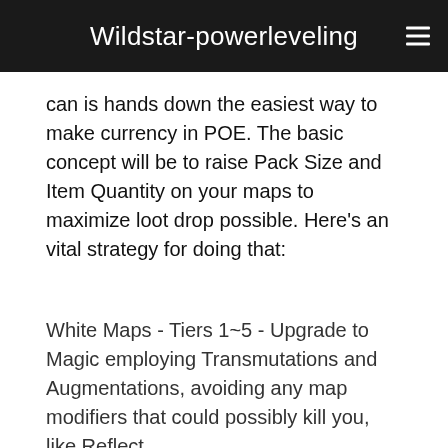Wildstar-powerleveling
can is hands down the easiest way to make currency in POE. The basic concept will be to raise Pack Size and Item Quantity on your maps to maximize loot drop possible. Here's an vital strategy for doing that:
White Maps - Tiers 1~5 - Upgrade to Magic employing Transmutations and Augmentations, avoiding any map modifiers that could possibly kill you, like Reflect.
Yellow Maps - Tiers 6~10 - Upgrade to Rare employing Alchemy and Chaos, avoiding any map modifiers that could possibly kill you, like Reflect. For added Quantity and Pack Size, Vaal them, hoping for light modifiers.